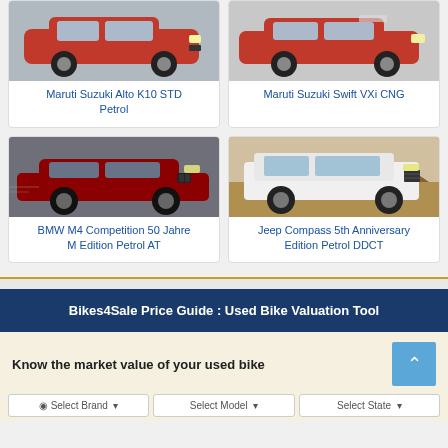[Figure (photo): Red Maruti Suzuki Alto K10 car photo]
Maruti Suzuki Alto K10 STD Petrol
[Figure (photo): Red Maruti Suzuki Swift car photo]
Maruti Suzuki Swift VXi CNG
[Figure (photo): Red BMW M4 Competition car photo]
BMW M4 Competition 50 Jahre M Edition Petrol AT
[Figure (photo): White Jeep Compass SUV photo]
Jeep Compass 5th Anniversary Edition Petrol DDCT
Bikes4Sale Price Guide : Used Bike Valuation Tool
Know the market value of your used bike
Select Brand
Select Model
Select State